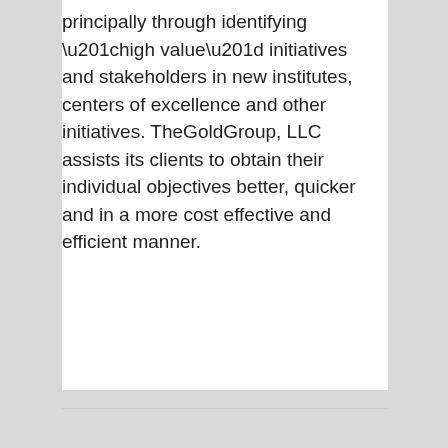principally through identifying “high value” initiatives and stakeholders in new institutes, centers of excellence and other initiatives. TheGoldGroup, LLC assists its clients to obtain their individual objectives better, quicker and in a more cost effective and efficient manner.
Read More